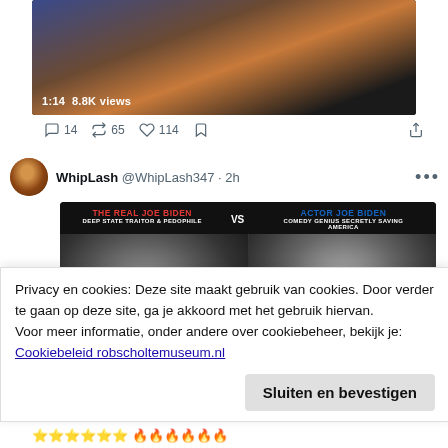[Figure (screenshot): Top portion of a Twitter/X post showing a video thumbnail with a sunset/light scene. Video shows 1:14 duration and 8.8K views.]
1:14  8.8K views
14  65  114
[Figure (screenshot): Twitter post by WhipLash @WhipLash347 · 2h with a meme image comparing 'THE REAL JOE BIDEN - DEEP STATE TRAITOR & PEDOPHILE' vs 'ACTOR JOE BIDEN - COMEDY GENIUS SECRETLY SAVING AMERICA', with two black and white photos of Joe Biden.]
Privacy en cookies: Deze site maakt gebruik van cookies. Door verder te gaan op deze site, ga je akkoord met het gebruik hiervan.
Voor meer informatie, onder andere over cookiebeheer, bekijk je:
Cookiebeleid robscholtemuseum.nl
Sluiten en bevestigen